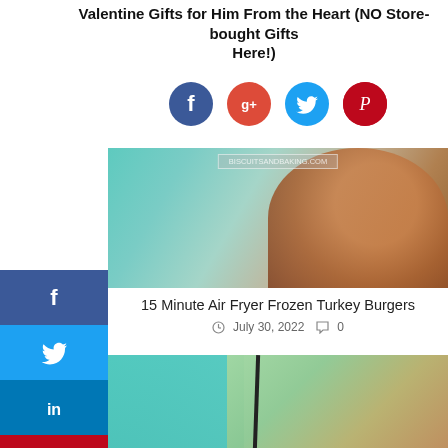Valentine Gifts for Him From the Heart (NO Store-bought Gifts Here!)
[Figure (infographic): Row of four social sharing circle icons: Facebook (f), Google+ (g+), Twitter (bird), Pinterest (p)]
[Figure (photo): Top partial image showing teal/turquoise background with food (pizza/pie) on right side, watermark text at top]
15 Minute Air Fryer Frozen Turkey Burgers
July 30, 2022   0
[Figure (photo): Boy in red shirt playing with wooden train set on grass, teal overlay on left with text 'Gift Ideas for a One Year Old Baby', watermark at bottom]
[Figure (infographic): Left social sharing sidebar with icons for Facebook, Twitter, LinkedIn, Pinterest, Reddit, Mix, Email, and back arrow]